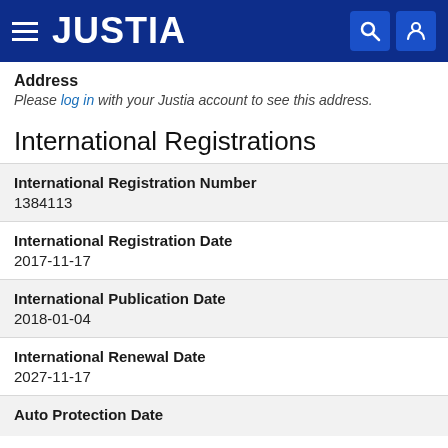[Figure (screenshot): Justia website header bar with hamburger menu, JUSTIA logo, search icon, and user icon on dark blue background]
Address
Please log in with your Justia account to see this address.
International Registrations
| Field | Value |
| --- | --- |
| International Registration Number | 1384113 |
| International Registration Date | 2017-11-17 |
| International Publication Date | 2018-01-04 |
| International Renewal Date | 2027-11-17 |
| Auto Protection Date |  |